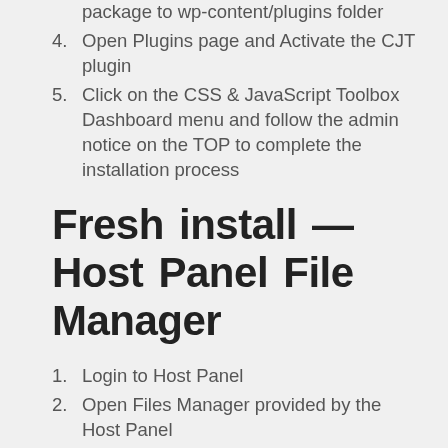package to wp-content/plugins folder
4. Open Plugins page and Activate the CJT plugin
5. Click on the CSS & JavaScript Toolbox Dashboard menu and follow the admin notice on the TOP to complete the installation process
Fresh install — Host Panel File Manager
1. Login to Host Panel
2. Open Files Manager provided by the Host Panel
3. Upload the zip package to wp-content/plugins folder
4. Use File Manager Tools to unzip the package
5. After a new folder named 'css-javascript-toolbox' appears, delete the zip package you uploaded
6. Open Plugins page and Activate the CJT plugin
7. Click on the CSS & JavaScript Toolbox Dashboard menu and follow the admin notice on the TOP to